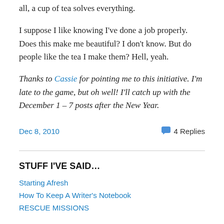all, a cup of tea solves everything.
I suppose I like knowing I've done a job properly. Does this make me beautiful? I don't know. But do people like the tea I make them? Hell, yeah.
Thanks to Cassie for pointing me to this initiative. I'm late to the game, but oh well! I'll catch up with the December 1 – 7 posts after the New Year.
Dec 8, 2010    💬 4 Replies
STUFF I'VE SAID...
Starting Afresh
How To Keep A Writer's Notebook
RESCUE MISSIONS